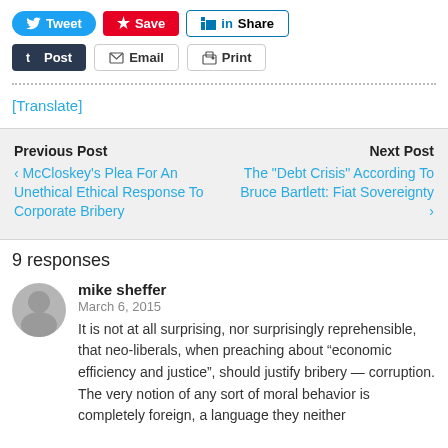[Figure (other): Social share buttons row 1: Tweet, Save, Share]
[Figure (other): Social share buttons row 2: Post (Tumblr), Email, Print]
[Translate]
Previous Post
Next Post
< McCloskey's Plea For An Unethical Ethical Response To Corporate Bribery
The "Debt Crisis" According To Bruce Bartlett: Fiat Sovereignty >
9 responses
mike sheffer
March 6, 2015
It is not at all surprising, nor surprisingly reprehensible, that neo-liberals, when preaching about “economic efficiency and justice”, should justify bribery — corruption. The very notion of any sort of moral behavior is completely foreign, a language they neither